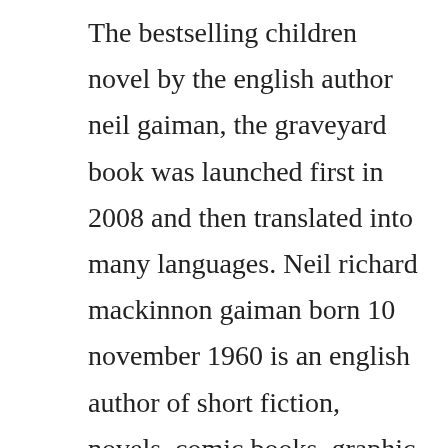The bestselling children novel by the english author neil gaiman, the graveyard book was launched first in 2008 and then translated into many languages. Neil richard mackinnon gaiman born 10 november 1960 is an english author of short fiction, novels, comic books, graphic novels, audio theatre and films. Neil gaimans tales from the crypt are a deathly delight, says patrick ness patrick ness fri 24 oct 2008 19. The graveyard book traces the story of the boy nobody bod owens who is adopted and raised by the supernatural